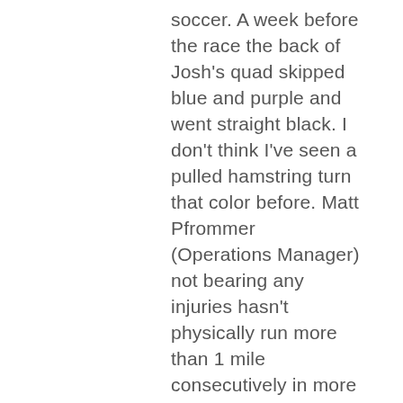soccer. A week before the race the back of Josh's quad skipped blue and purple and went straight black. I don't think I've seen a pulled hamstring turn that color before. Matt Pfrommer (Operations Manager) not bearing any injuries hasn't physically run more than 1 mile consecutively in more than 10 years… ran 3.8 miles, averaging 11-minute miles (that's impressive for the big man)! Finally, Brandon Konieczny (Underwriting Manager) traveled 20 hours back from Africa where he spends 2 weeks every 2 years teaching and caring for the children of Uganda… He landed late Friday night, got his first good night of sleep Saturday and was the first runner for our team on Sunday. Oh… yea he didn't